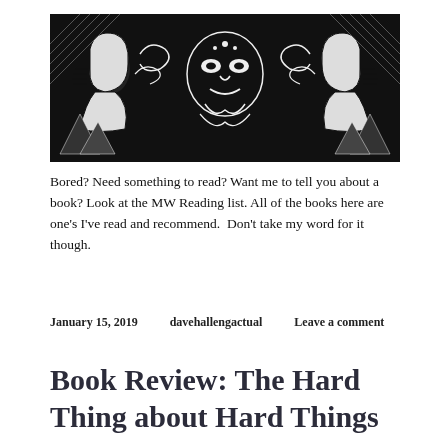[Figure (illustration): Black and white decorative banner illustration featuring a symmetrical design with faces, figures, and ornamental patterns — appears to be a woodcut or linocut style graphic.]
Bored? Need something to read? Want me to tell you about a book? Look at the MW Reading list. All of the books here are one's I've read and recommend.  Don't take my word for it though.
January 15, 2019    davehallengactual    Leave a comment
Book Review: The Hard Thing about Hard Things